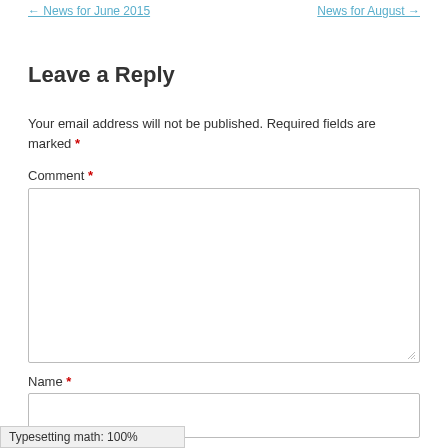← News for June 2015    News for August →
Leave a Reply
Your email address will not be published. Required fields are marked *
Comment *
Name *
Typesetting math: 100%